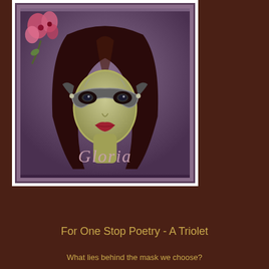[Figure (illustration): A framed digital illustration of a woman with long dark hair wearing an ornate masquerade mask, with pink flowers in the upper left. The name 'Gloria' is written in cursive script at the bottom of the frame. The frame has a purple/mauve background with white and decorative borders.]
For One Stop Poetry - A Triolet
What lies behind the mask we choose?